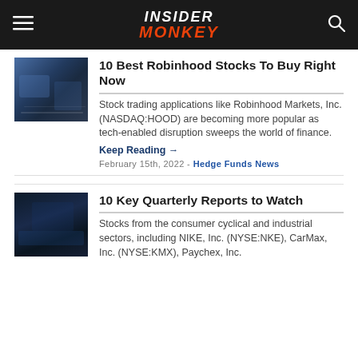INSIDER MONKEY
10 Best Robinhood Stocks To Buy Right Now
Stock trading applications like Robinhood Markets, Inc. (NASDAQ:HOOD) are becoming more popular as tech-enabled disruption sweeps the world of finance.
Keep Reading →
February 15th, 2022 - Hedge Funds News
10 Key Quarterly Reports to Watch
Stocks from the consumer cyclical and industrial sectors, including NIKE, Inc. (NYSE:NKE), CarMax, Inc. (NYSE:KMX), Paychex, Inc.